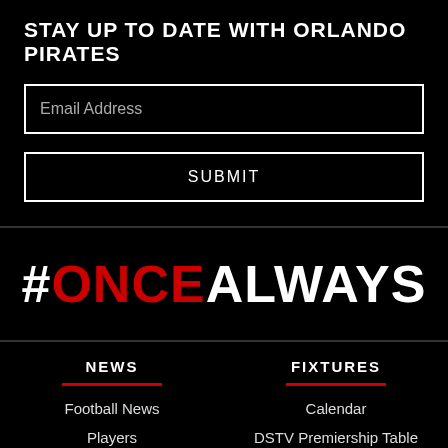STAY UP TO DATE WITH ORLANDO PIRATES
Email Address
SUBMIT
#ONCEALWAYS
NEWS
FIXTURES
Football News
Players
Calendar
DSTV Premiership Table